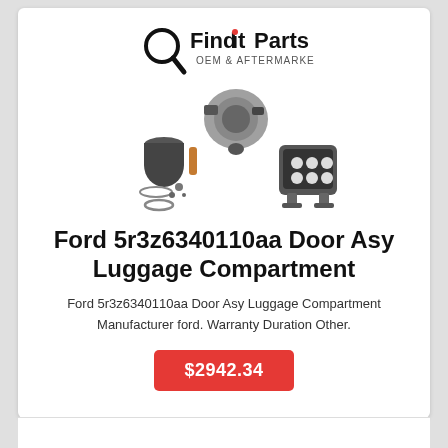[Figure (logo): FindItParts OEM & Aftermarket logo with magnifying glass icon]
[Figure (photo): Auto parts: alternator/compressor, oil filter with filter kit parts, LED work light]
Ford 5r3z6340110aa Door Asy Luggage Compartment
Ford 5r3z6340110aa Door Asy Luggage Compartment
Manufacturer ford. Warranty Duration Other.
$2942.34